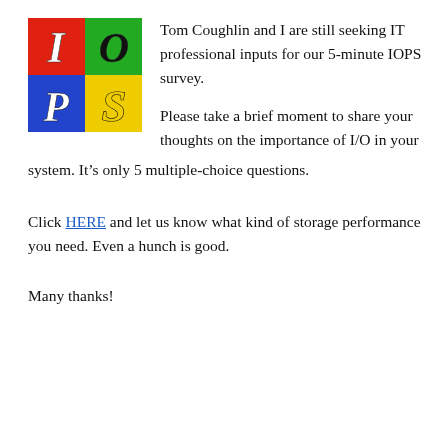[Figure (logo): IOPS logo: four colored squares in a 2x2 grid. Top-left red with italic bold I in white, top-right green with italic O in black, bottom-left blue with italic P in black/white, bottom-right yellow with italic S in yellow outlined black.]
Tom Coughlin and I are still seeking IT professional inputs for our 5-minute IOPS survey.
Please take a brief moment to share your thoughts on the importance of I/O in your system. It's only 5 multiple-choice questions.
Click HERE and let us know what kind of storage performance you need. Even a hunch is good.
Many thanks!